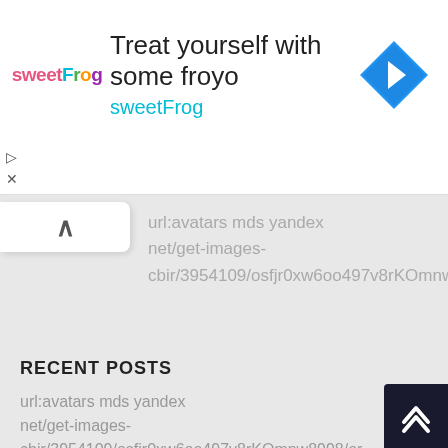[Figure (screenshot): SweetFrog advertisement banner with logo, tagline 'Treat yourself with some froyo', brand name 'sweetFrog', and a blue navigation arrow icon.]
url:avatars mds yandex net/get-images-cbir/3954109/osfjr0xw6oo497v8rKOmnw8998/or
RECENT POSTS
url:avatars mds yandex net/get-images-cbir/3954109/osfjr0xw6oo497v8rKOmnw8998/or
стена из пробок от вина
mobilya ayakları
TRENDING TODAY